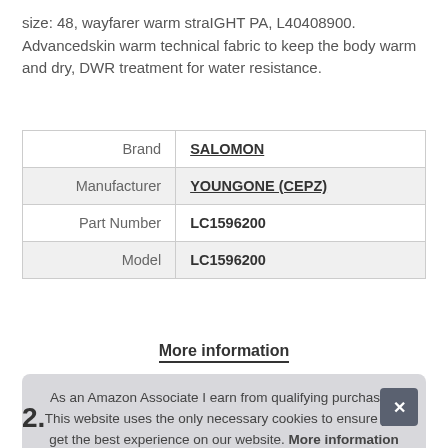size: 48, wayfarer warm straIGHT PA, L40408900. Advancedskin warm technical fabric to keep the body warm and dry, DWR treatment for water resistance.
|  |  |
| --- | --- |
| Brand | SALOMON |
| Manufacturer | YOUNGONE (CEPZ) |
| Part Number | LC1596200 |
| Model | LC1596200 |
More information
As an Amazon Associate I earn from qualifying purchases. This website uses the only necessary cookies to ensure you get the best experience on our website. More information